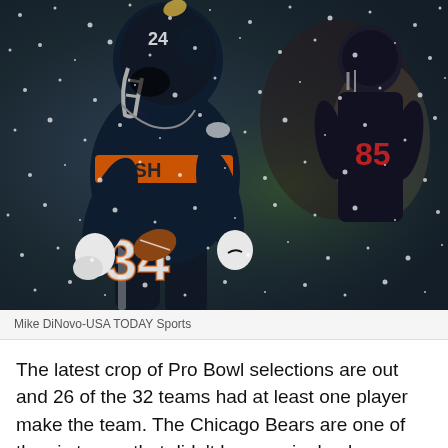[Figure (photo): Chicago Bears running back wearing number 34 in dark navy and orange uniform, carrying a football in snowy conditions. Another player wearing number 85 visible in background. Snow falling throughout the scene.]
Mike DiNovo-USA TODAY Sports
The latest crop of Pro Bowl selections are out and 26 of the 32 teams had at least one player make the team. The Chicago Bears are one of the six teams that didn't have a single player honored. (Insert sad face emoji here) This could easily change as players decide to